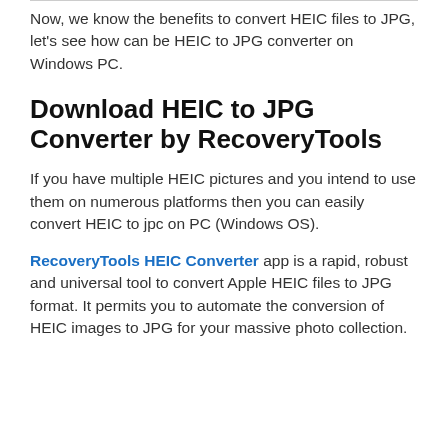Now, we know the benefits to convert HEIC files to JPG, let's see how can be HEIC to JPG converter on Windows PC.
Download HEIC to JPG Converter by RecoveryTools
If you have multiple HEIC pictures and you intend to use them on numerous platforms then you can easily convert HEIC to jpc on PC (Windows OS).
RecoveryTools HEIC Converter app is a rapid, robust and universal tool to convert Apple HEIC files to JPG format. It permits you to automate the conversion of HEIC images to JPG for your massive photo collection.